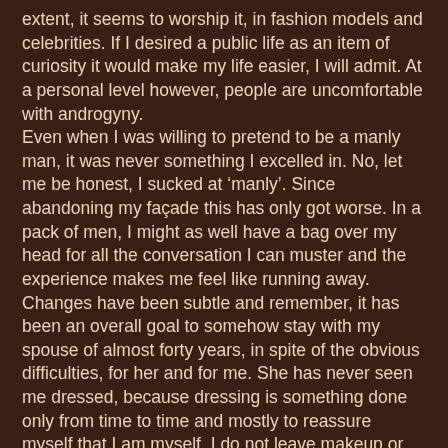extent, it seems to worship it, in fashion models and celebrities. If I desired a public life as an item of curiosity it would make my life easier, I will admit. At a personal level however, people are uncomfortable with androgyny.
Even when I was willing to pretend to be a manly man, it was never something I excelled in. No, let me be honest, I sucked at 'manly'. Since abandoning my façade this has only got worse. In a pack of men, I might as well have a bag over my head for all the conversation I can muster and the experience makes me feel like running away.
Changes have been subtle and remember, it has been an overall goal to somehow stay with my spouse of almost forty years, in spite of the obvious difficulties, for her and for me. She has never seen me dressed, because dressing is something done only from time to time and mostly to reassure myself that I am myself. I do not leave makeup or my undies lying around. I do have one thing that is pretty hard to miss that can be an indication of my rejection of male; my lack of hair from the hips down and on my hands. I really hate my furry coating, and after all, lots of men